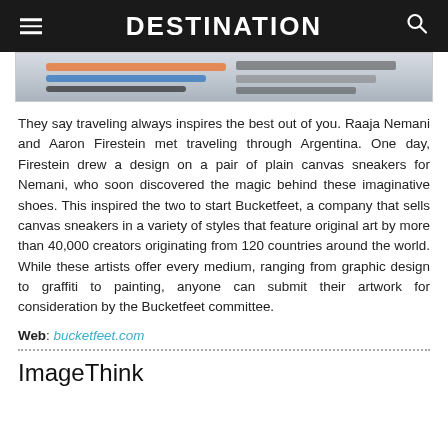DESTINATION
[Figure (photo): Partial view of art supplies including markers/pens on a desk, cropped at top]
They say traveling always inspires the best out of you. Raaja Nemani and Aaron Firestein met traveling through Argentina. One day, Firestein drew a design on a pair of plain canvas sneakers for Nemani, who soon discovered the magic behind these imaginative shoes. This inspired the two to start Bucketfeet, a company that sells canvas sneakers in a variety of styles that feature original art by more than 40,000 creators originating from 120 countries around the world. While these artists offer every medium, ranging from graphic design to graffiti to painting, anyone can submit their artwork for consideration by the Bucketfeet committee.
Web: bucketfeet.com
ImageThink